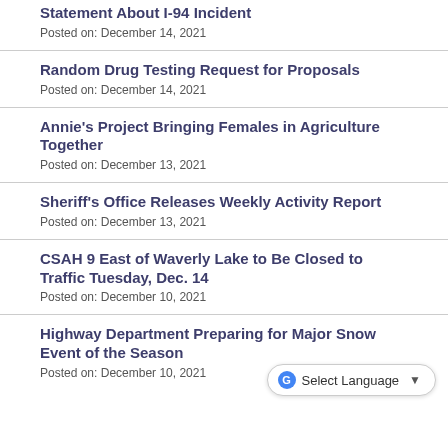Statement About I-94 Incident
Posted on: December 14, 2021
Random Drug Testing Request for Proposals
Posted on: December 14, 2021
Annie's Project Bringing Females in Agriculture Together
Posted on: December 13, 2021
Sheriff's Office Releases Weekly Activity Report
Posted on: December 13, 2021
CSAH 9 East of Waverly Lake to Be Closed to Traffic Tuesday, Dec. 14
Posted on: December 10, 2021
Highway Department Preparing for Major Snow Event of the Season
Posted on: December 10, 2021